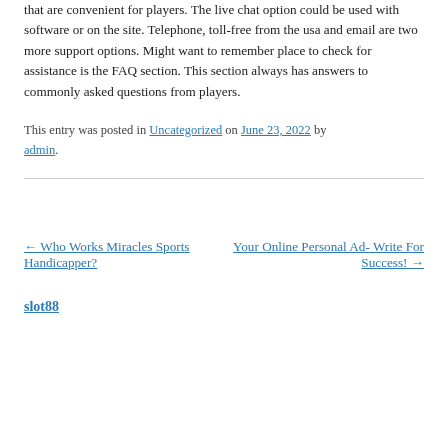that are convenient for players. The live chat option could be used with software or on the site. Telephone, toll-free from the usa and email are two more support options. Might want to remember place to check for assistance is the FAQ section. This section always has answers to commonly asked questions from players.
This entry was posted in Uncategorized on June 23, 2022 by admin.
← Who Works Miracles Sports Handicapper?   Your Online Personal Ad- Write For Success! →
slot88